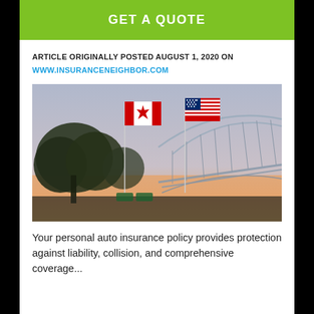GET A QUOTE
ARTICLE ORIGINALLY POSTED AUGUST 1, 2020 ON
WWW.INSURANCENEIGHBOR.COM
[Figure (photo): Photo of Canadian and American flags on flagpoles with a large steel bridge in the background at dusk/sunset, with trees visible.]
Your personal auto insurance policy provides protection against liability, collision, and comprehensive coverage...